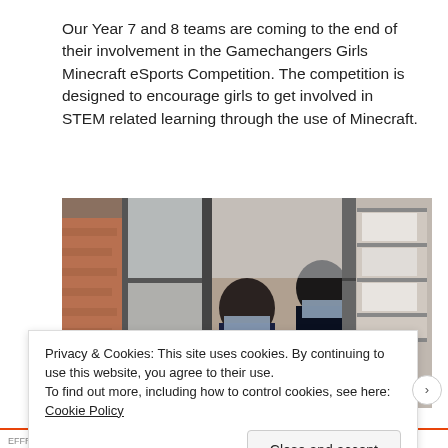Our Year 7 and 8 teams are coming to the end of their involvement in the Gamechangers Girls Minecraft eSports Competition. The competition is designed to encourage girls to get involved in STEM related learning through the use of Minecraft.
[Figure (photo): Photo of school girls wearing face masks sitting at a desk working on computers in a classroom with large windows showing brick building exterior]
Privacy & Cookies: This site uses cookies. By continuing to use this website, you agree to their use.
To find out more, including how to control cookies, see here: Cookie Policy
Close and accept